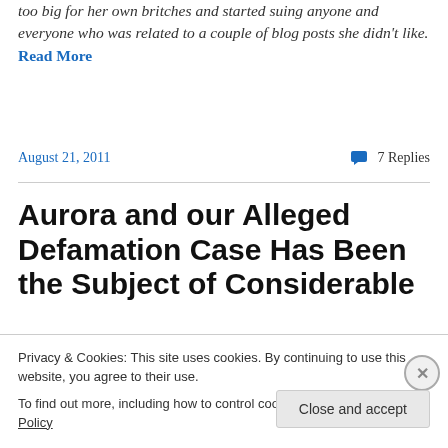too big for her own britches and started suing anyone and everyone who was related to a couple of blog posts she didn't like. Read More
August 21, 2011
7 Replies
Aurora and our Alleged Defamation Case Has Been the Subject of Considerable
Privacy & Cookies: This site uses cookies. By continuing to use this website, you agree to their use.
To find out more, including how to control cookies, see here: Cookie Policy
Close and accept